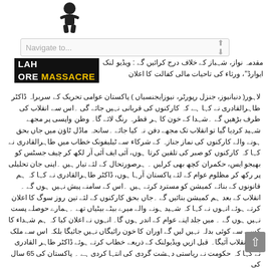[Figure (logo): Black and white logo illustration of a figure, Lahore Massacre website logo]
[Figure (screenshot): Navigation bar with 'Navigate to...' placeholder text and arrow button]
[Figure (logo): Lahore Massacre logo in black and yellow text]
مقدمہ نواز، شہباز کے خلاف درج کرائیں گے : ویڈیو لنک ایوارڈ''، ورثاء کی تاحیات مالی کفالت کا اعلان
لاہور( دنیانیوز، جنزل رپورٹر، نیوزایجنسیاں ) پاکستان عوامی تحریک کے سربراہ ڈاکٹر طاہرالقادری نے کہا ہے کہ کارکنوں کی قربانی نہیں جائے گی ۔اس سے انقلاب کی طرف بڑھیں گے ۔شہدا کے خون کا ہر قطرہ رنگ لائے گا۔ وطن واپسی پر مجھے شہید کردیا گیا تو انقلاب تک مجھے دفن نہ کیا جائے ۔سانحہ ماڈل ٹاؤن میں جاں بحق ہونے والے کارکنوں کی نماز جنازہ کے شرکاء سے ٹیلیفونک خطاب میں طاہرالقادری نے کہا کہ کارکنوں کو صبر کی تلقین کرتا ہوں، آئی ایف آئی آر لکھ کر چیف جسٹس کو بھیجو ایس، حکمران کچھ بھی کرلیں ۔ ہرصورتحال کے لئے تیار ہیں ۔اپنی جان تحلیلی پر رکھ کر مظلوم عوام کے لئے پاکستان آرہا ہوں، ڈاکٹر طاہرالقادری نے کہا کہ ہم قانونوں کے بنائے کمیشن کو مسترد کرتے ہیں ۔اس کے سامنے پیش نہیں ہوں گے ۔انقلاب کے بعد ہم کمیشن بنائیں گے ۔جاں بحق کارکنوں کے لئے تین روز سوگ کا اعلان کرتے ہوئے انہوں نے کہا کہ شہید ہونے والے میرے بیٹے بیٹیاں تھے ۔ہمارے حوصلے پست نہیں ہوں گے ۔ میں جلد اپنے عوام کے اندر ہوں گا۔ انہوں نے اعلان کیا کہ ہم شہداء کا کسی سے کوئی بدلہ نہیں لیں گے اوران کا خون رائیگاں نہیں جائیگا بلکہ اس سے ملک میں انقلاب آئیگا۔ قبل ازیں ویڈیولنک کے ذریعے خطاب کرتے ہوئے ڈاکٹر طاہر القادری نے کہا کہ حکومت نے ریاستی دہشت گردی کی انتہا کردی ہے ۔ پاکستان کی 65 سال کی